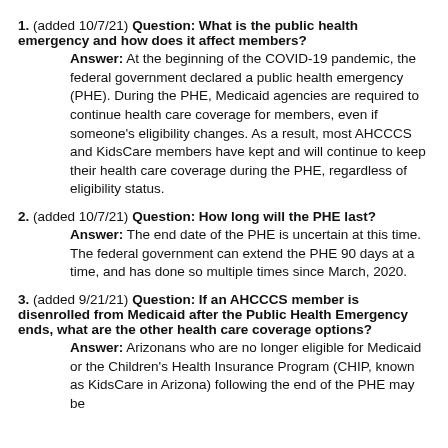1. (added 10/7/21) Question: What is the public health emergency and how does it affect members? Answer: At the beginning of the COVID-19 pandemic, the federal government declared a public health emergency (PHE). During the PHE, Medicaid agencies are required to continue health care coverage for members, even if someone's eligibility changes. As a result, most AHCCCS and KidsCare members have kept and will continue to keep their health care coverage during the PHE, regardless of eligibility status.
2. (added 10/7/21) Question: How long will the PHE last? Answer: The end date of the PHE is uncertain at this time. The federal government can extend the PHE 90 days at a time, and has done so multiple times since March, 2020.
3. (added 9/21/21) Question: If an AHCCCS member is disenrolled from Medicaid after the Public Health Emergency ends, what are the other health care coverage options? Answer: Arizonans who are no longer eligible for Medicaid or the Children's Health Insurance Program (CHIP, known as KidsCare in Arizona) following the end of the PHE may be